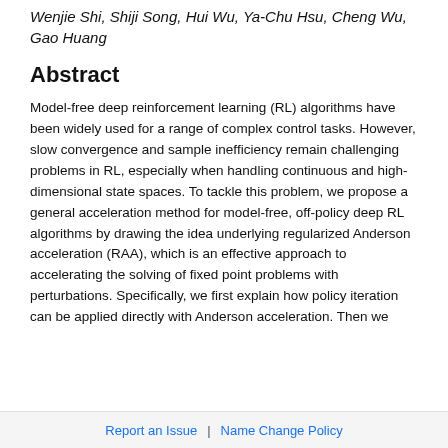Wenjie Shi, Shiji Song, Hui Wu, Ya-Chu Hsu, Cheng Wu, Gao Huang
Abstract
Model-free deep reinforcement learning (RL) algorithms have been widely used for a range of complex control tasks. However, slow convergence and sample inefficiency remain challenging problems in RL, especially when handling continuous and high-dimensional state spaces. To tackle this problem, we propose a general acceleration method for model-free, off-policy deep RL algorithms by drawing the idea underlying regularized Anderson acceleration (RAA), which is an effective approach to accelerating the solving of fixed point problems with perturbations. Specifically, we first explain how policy iteration can be applied directly with Anderson acceleration. Then we
Report an Issue  |  Name Change Policy